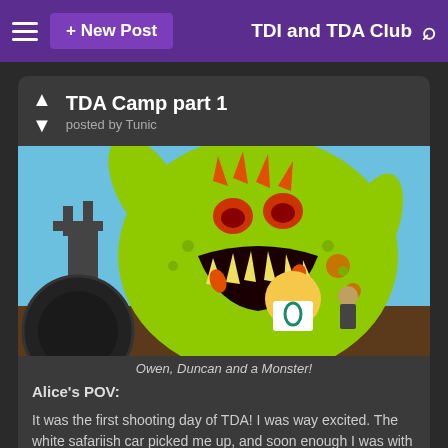+ New Post   TDA and TDA Club
TDA Camp part 1
posted by Tunic
[Figure (illustration): Cartoon scene showing a large green monster with orange spiky teeth roaring, with Owen wearing a jersey with number 0 and Duncan in the foreground, set against a blue sky background.]
Owen, Duncan and a Monster!
Alice's POV:

It was the first shooting day of TDA! I was way excited. The white safariish car picked me up, and soon enough I was with ALL of my previous friends.
"Uhh. Where's Tyler?" Lindsay said
"He is out of the game, noob." Harold breathed.
"When will she learn?" Gwen smirked to Trent, Trent grinning back.
surprisingly Noah and Cody were here. And an new